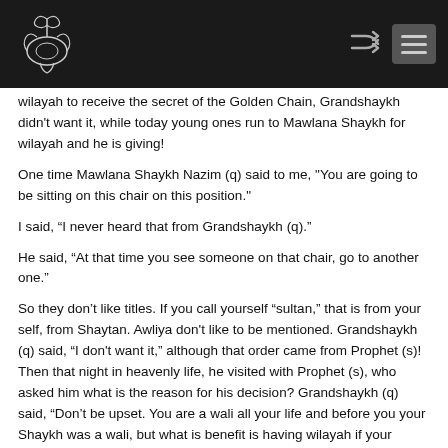[Logo and navigation bar]
wilayah to receive the secret of the Golden Chain, Grandshaykh didn't want it, while today young ones run to Mawlana Shaykh for wilayah and he is giving!
One time Mawlana Shaykh Nazim (q) said to me, "You are going to be sitting on this chair on this position."
I said, “I never heard that from Grandshaykh (q).”
He said, “At that time you see someone on that chair, go to another one.”
So they don’t like titles. If you call yourself “sultan,” that is from your self, from Shaytan. Awliya don't like to be mentioned. Grandshaykh (q) said, “I don't want it,” although that order came from Prophet (s)! Then that night in heavenly life, he visited with Prophet (s), who asked him what is the reason for his decision? Grandshaykh (q) said, “Don’t be upset. You are a wali all your life and before you your Shaykh was a wali, but what is benefit is having wilayah if your followers take no benefit? Wherever Allah (swt) puts me I surrender, be it a high level of Paradise or in Hellfire, but I am refusing because what will happen to all these mureeds? If I am